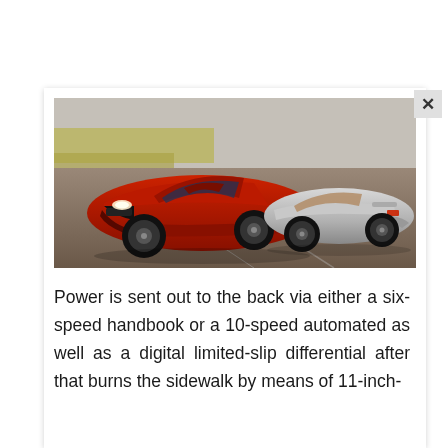[Figure (photo): Two Chevrolet Camaro ZL1 cars on a racetrack — a red coupe facing forward on the left and a silver convertible facing away on the right.]
Power is sent out to the back via either a six-speed handbook or a 10-speed automated as well as a digital limited-slip differential after that burns the sidewalk by means of 11-inch-